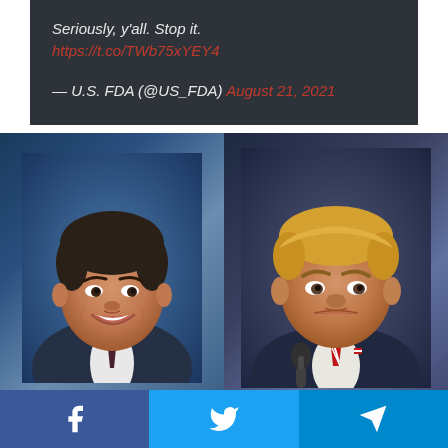Seriously, y'all. Stop it.
https://t.co/TWb75xYEY4

— U.S. FDA (@US_FDA) August 21, 2021
[Figure (photo): Side-by-side headshot photos of two political figures: on the left, a smiling man in a dark suit with a dark tie; on the right, a stern-looking older man in a dark suit with a red and white striped tie, standing near a microphone.]
[Figure (infographic): Social sharing bar at the bottom with three buttons: Facebook (blue #3b5998), Twitter (blue #1da1f2), and Telegram (blue #0088cc), each with their respective white icons.]